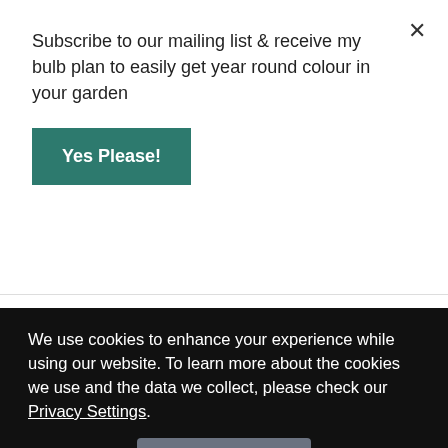Subscribe to our mailing list & receive my bulb plan to easily get year round colour in your garden
Yes Please!
seedlings.
3. Top with a thin layer of compost or vermiculite. Tomato seeds don't like to be too deep.
We use cookies to enhance your experience while using our website. To learn more about the cookies we use and the data we collect, please check our Privacy Settings.
I Accept